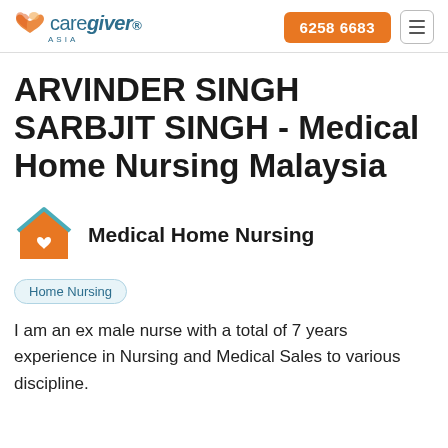caregiver ASIA | 6258 6683
ARVINDER SINGH SARBJIT SINGH - Medical Home Nursing Malaysia
[Figure (illustration): Orange house icon with a white heart in the center, teal roof outline]
Medical Home Nursing
Home Nursing
I am an ex male nurse with a total of 7 years experience in Nursing and Medical Sales to various discipline.